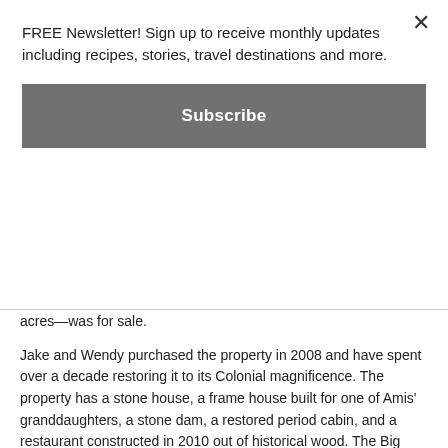FREE Newsletter! Sign up to receive monthly updates including recipes, stories, travel destinations and more.
Subscribe
acres—was for sale.
Jake and Wendy purchased the property in 2008 and have spent over a decade restoring it to its Colonial magnificence. The property has a stone house, a frame house built for one of Amis' granddaughters, a stone dam, a restored period cabin, and a restaurant constructed in 2010 out of historical wood. The Big Creek Visitor's Center opened in 2016. It has a graphic timeline from European settlers landing in Virginia to the settlement of the country through what is now east Tennessee.
After a Christmastime visit to Williamsburg, Virginia, in 2010, Jake and Wendy decided to host what became an annual